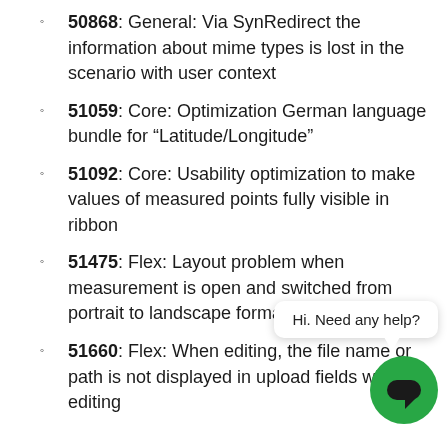50868: General: Via SynRedirect the information about mime types is lost in the scenario with user context
51059: Core: Optimization German language bundle for “Latitude/Longitude”
51092: Core: Usability optimization to make values of measured points fully visible in ribbon
51475: Flex: Layout problem when measurement is open and switched from portrait to landscape format
51660: Flex: When editing, the file name or path is not displayed in upload fields when editing